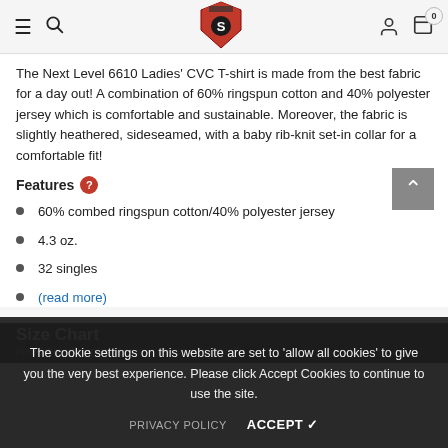Navigation bar with hamburger menu, search icon, S shield logo, user icon, and cart (0)
The Next Level 6610 Ladies' CVC T-shirt is made from the best fabric for a day out! A combination of 60% ringspun cotton and 40% polyester jersey which is comfortable and sustainable. Moreover, the fabric is slightly heathered, sideseamed, with a baby rib-knit set-in collar for a comfortable fit!
Features
60% combed ringspun cotton/40% polyester jersey
4.3 oz.
32 singles
(read more)
Size Chart
Need help figuring out your measurements?
The cookie settings on this website are set to 'allow all cookies' to give you the very best experience. Please click Accept Cookies to continue to use the site.
PRIVACY POLICY   ACCEPT ✓